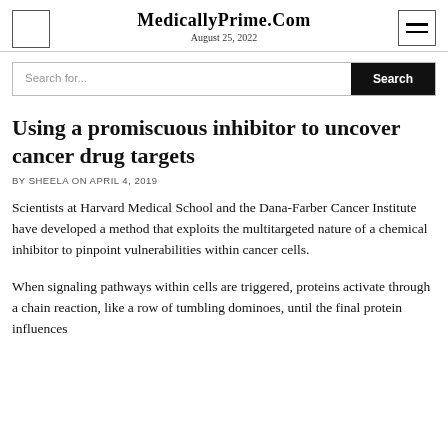MedicallyPrime.Com
August 25, 2022
Using a promiscuous inhibitor to uncover cancer drug targets
BY SHEELA ON APRIL 4, 2019
Scientists at Harvard Medical School and the Dana-Farber Cancer Institute have developed a method that exploits the multitargeted nature of a chemical inhibitor to pinpoint vulnerabilities within cancer cells.
When signaling pathways within cells are triggered, proteins activate through a chain reaction, like a row of tumbling dominoes, until the final protein influences